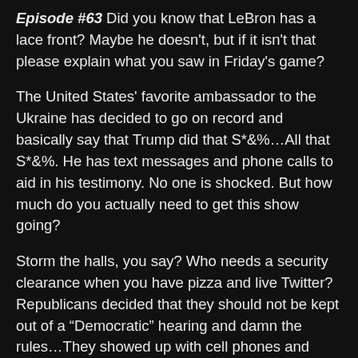Episode #63 Did you know that LeBron has a lace front? Maybe he doesn't, but if it isn't that please explain what you saw in Friday's game?
The United States' favorite ambassador to the Ukraine has decided to go on record and basically say that Trump did that S*&%…All that S*&%. He has text messages and phone calls to aid in his testimony. No one is shocked. But how much do you actually need to get this show going?
Storm the halls, you say? Who needs a security clearance when you have pizza and live Twitter? Republicans decided that they should not be kept out of a “Democratic” hearing and damn the rules…They showed up with cell phones and non-security badges to a location that requires the highest level of security and no phones. They picketed and protested delaying the hearing. They were there so long that hunger crept in. So they ordered pizza.
Can the DOJ investigate the DOJ? IF you didn't like the findings